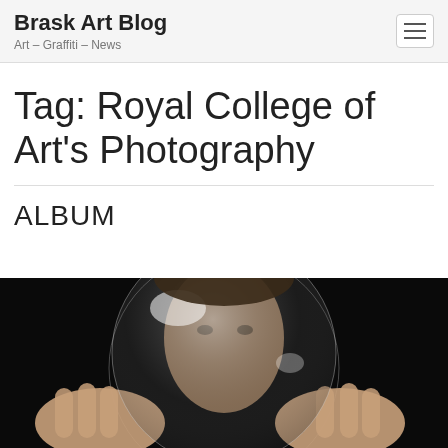Brask Art Blog — Art – Graffiti – News
Tag: Royal College of Art's Photography
ALBUM
[Figure (photo): Person holding a large transparent glass sphere up to their face against a black background, with light reflections visible on the sphere]